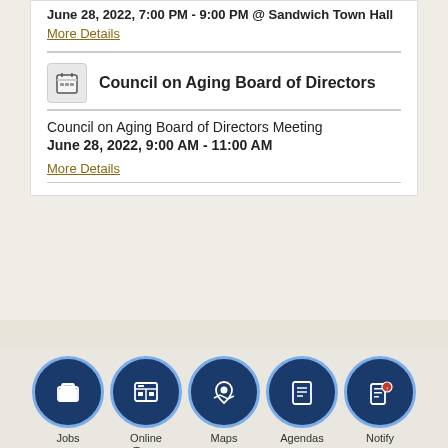June 28, 2022, 7:00 PM - 9:00 PM @ Sandwich Town Hall
More Details
Council on Aging Board of Directors
Council on Aging Board of Directors Meeting
June 28, 2022, 9:00 AM - 11:00 AM
More Details
Jobs | Online Town Services | Maps | Agendas | Notify | Select Language